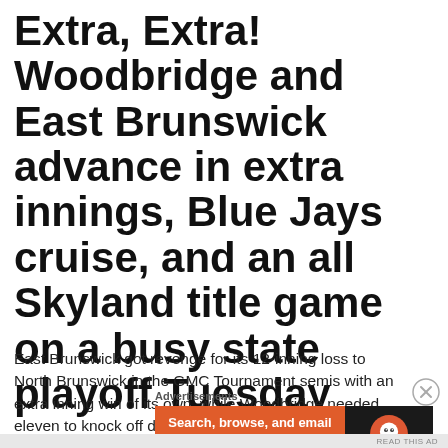Extra, Extra! Woodbridge and East Brunswick advance in extra innings, Blue Jays cruise, and an all Skyland title game on a busy state playoff Tuesday
East Brunswick got revenge for its 12-inning loss to North Brunswick in the GMC Tournament semis with an extra inning win of its own, while Woodbridge needed eleven to knock off defending North 2, Group 4 champ Ridge.
[Figure (other): DuckDuckGo advertisement banner: orange left panel with text 'Search, browse, and email with more privacy. All in One Free App' and dark right panel with DuckDuckGo duck logo and brand name.]
READ THIS AD